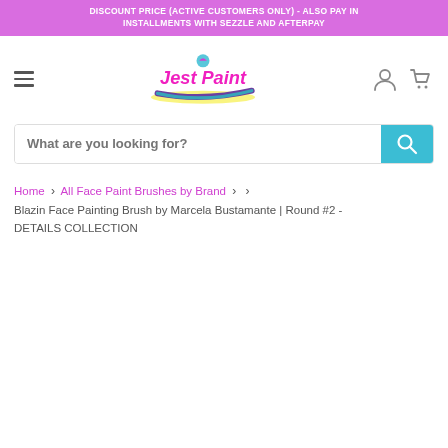DISCOUNT PRICE (ACTIVE CUSTOMERS ONLY) - ALSO PAY IN INSTALLMENTS WITH SEZZLE AND AFTERPAY
[Figure (logo): Jest Paint logo with colorful paint brush stroke in pink, purple, teal and yellow]
What are you looking for?
Home > All Face Paint Brushes by Brand > > Blazin Face Painting Brush by Marcela Bustamante | Round #2 - DETAILS COLLECTION